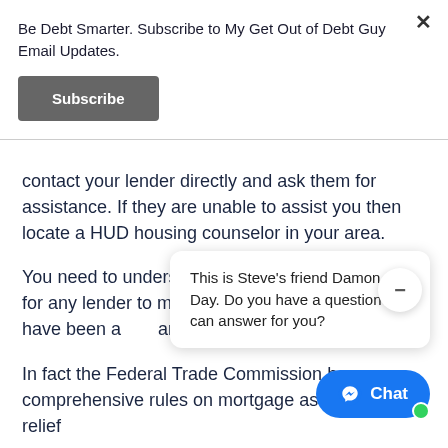Be Debt Smarter. Subscribe to My Get Out of Debt Guy Email Updates.
Subscribe
contact your lender directly and ask them for assistance. If they are unable to assist you then locate a HUD housing counselor in your area.
You need to understand there is NO requirement for any lender to modify any mortgage. Consumers have been a… any services… advance.
This is Steve's friend Damon Day. Do you have a question I can answer for you?
In fact the Federal Trade Commission h… comprehensive rules on mortgage assistance relief